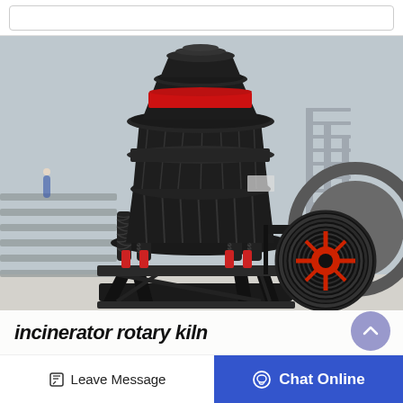[Figure (photo): Large industrial cone crusher / spring cone crusher machine photographed in a factory/warehouse setting. The machine is predominantly black with red hydraulic cylinders and a large red and black pulley wheel on the right side. The machine sits on a black steel frame in an industrial hall with structural steel visible in the background.]
incinerator rotary kiln
Leave Message
Chat Online